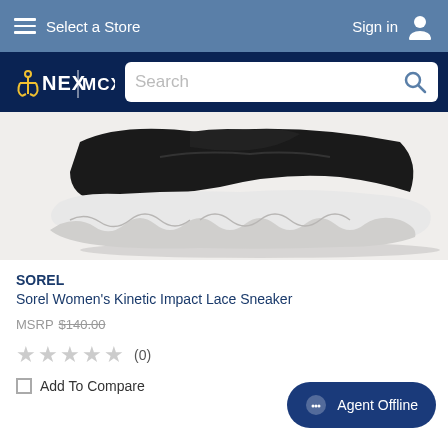Select a Store | Sign in
[Figure (logo): NEX MCX logo on dark navy background with search bar]
[Figure (photo): Close-up of Sorel Women's Kinetic Impact Lace Sneaker sole — white chunky wavy outsole with black upper]
SOREL
Sorel Women's Kinetic Impact Lace Sneaker
MSRP $140.00
★★★★★ (0)
Add To Compare
Agent Offline